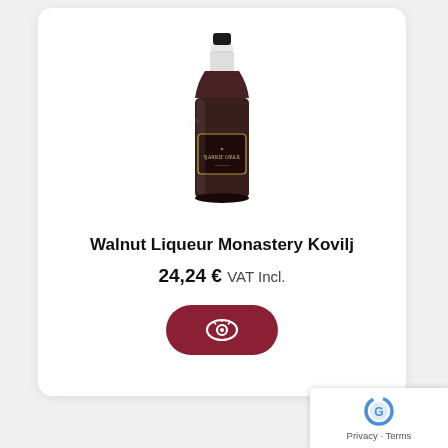[Figure (photo): Dark glass bottle of Walnut Liqueur Monastery Kovilj with a dark label and cap, against white background]
Walnut Liqueur Monastery Kovilj
24,24 € VAT Incl.
[Figure (other): Pill-shaped dark red button with a white eye/view icon]
[Figure (logo): Google reCAPTCHA badge with Privacy and Terms links]